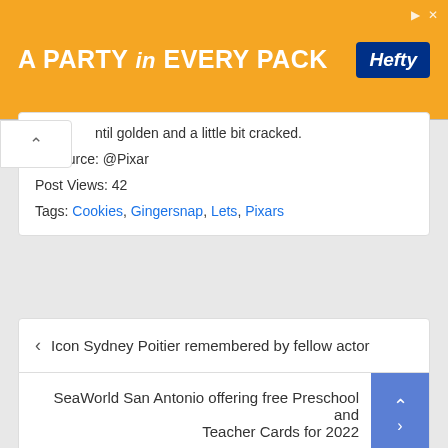[Figure (other): Orange advertisement banner: 'A PARTY in EVERY PACK' with Hefty logo in blue box]
ntil golden and a little bit cracked.
Resource: @Pixar
Post Views: 42
Tags: Cookies, Gingersnap, Lets, Pixars
Icon Sydney Poitier remembered by fellow actor
SeaWorld San Antonio offering free Preschool and Teacher Cards for 2022